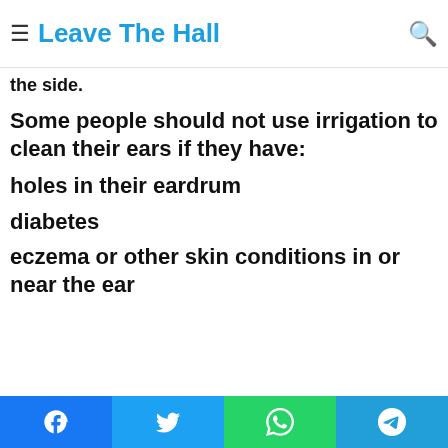≡ Leave The Hall 🔍
the side.
Some people should not use irrigation to clean their ears if they have:
holes in their eardrum
diabetes
eczema or other skin conditions in or near the ear
Facebook | Twitter | WhatsApp | Telegram